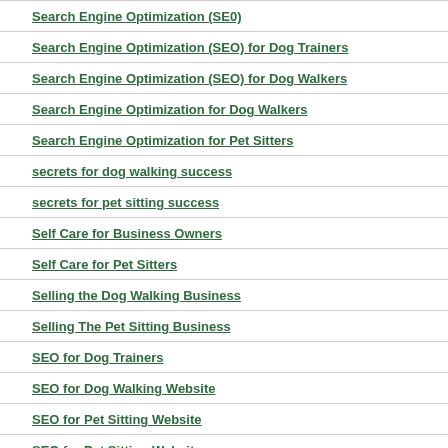Search Engine Optimization (SE0)
Search Engine Optimization (SEO) for Dog Trainers
Search Engine Optimization (SEO) for Dog Walkers
Search Engine Optimization for Dog Walkers
Search Engine Optimization for Pet Sitters
secrets for dog walking success
secrets for pet sitting success
Self Care for Business Owners
Self Care for Pet Sitters
Selling the Dog Walking Business
Selling The Pet Sitting Business
SEO for Dog Trainers
SEO for Dog Walking Website
SEO for Pet Sitting Website
SEO for Pet Sitting Websites
Setting Dog Walking Goals